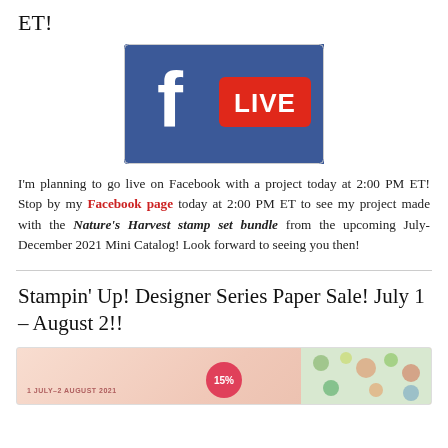ET!
[Figure (logo): Facebook LIVE logo — blue background with white 'f' icon and red LIVE button]
I'm planning to go live on Facebook with a project today at 2:00 PM ET! Stop by my Facebook page today at 2:00 PM ET to see my project made with the Nature's Harvest stamp set bundle from the upcoming July-December 2021 Mini Catalog! Look forward to seeing you then!
Stampin' Up! Designer Series Paper Sale! July 1 – August 2!!
[Figure (photo): Stampin' Up! Designer Series Paper Sale banner for 1 July–2 August 2021 with 15% badge and floral patterned papers]